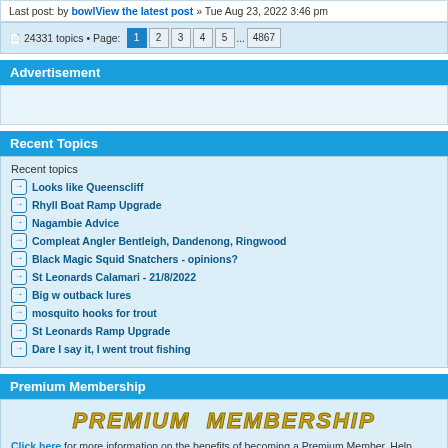Last post: by bowlView the latest post » Tue Aug 23, 2022 3:46 pm
24331 topics • Page: 1 2 3 4 5 ... 4867
Advertisement
[Figure (other): Advertisement placeholder box]
Recent Topics
Recent topics
Looks like Queenscliff
Rhyll Boat Ramp Upgrade
Nagambie Advice
Compleat Angler Bentleigh, Dandenong, Ringwood
Black Magic Squid Snatchers - opinions?
St Leonards Calamari - 21/8/2022
Big w outback lures
mosquito hooks for trout
St Leonards Ramp Upgrade
Dare I say it, I went trout fishing
Premium Membership
[Figure (other): Premium Membership banner with styled italic bold text]
Click here for more information on the benefits of becoming a Premium Member. Help support Fishing Victoria Forum today!